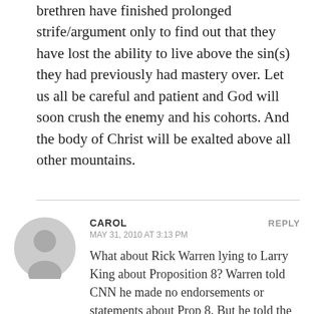brethren have finished prolonged strife/argument only to find out that they have lost the ability to live above the sin(s) they had previously had mastery over. Let us all be careful and patient and God will soon crush the enemy and his cohorts. And the body of Christ will be exalted above all other mountains.
CAROL
MAY 31, 2010 AT 3:13 PM
REPLY
What about Rick Warren lying to Larry King about Proposition 8? Warren told CNN he made no endorsements or statements about Prop 8. But he told the people of his church